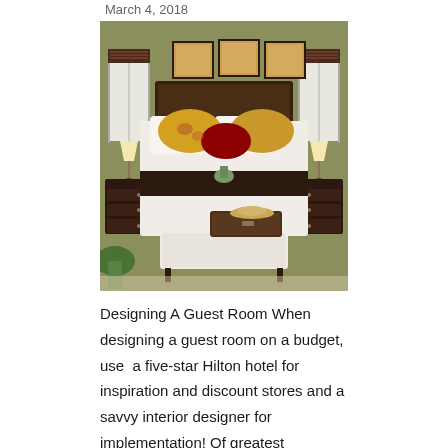March 4, 2018
[Figure (photo): A well-decorated guest bedroom with olive green walls, a large bed with white linens, yellow and floral decorative pillows, dark wood headboard and nightstands, three framed art pieces above the headboard, two windows with roman shades, a white upholstered bench at the foot of the bed, and a vintage suitcase on the bench.]
Designing A Guest Room When designing a guest room on a budget, use  a five-star Hilton hotel for inspiration and discount stores and a savvy interior designer for implementation! Of greatest importance is the best bed you can afford.  A queen-sized bed is